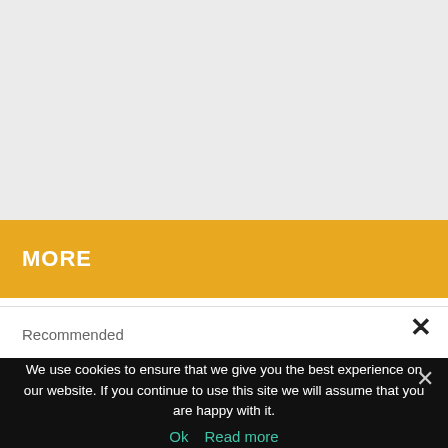[Figure (other): Light gray placeholder area representing an image or content block]
MORE
Recommended
We use cookies to ensure that we give you the best experience on our website. If you continue to use this site we will assume that you are happy with it.
Ok   Read more